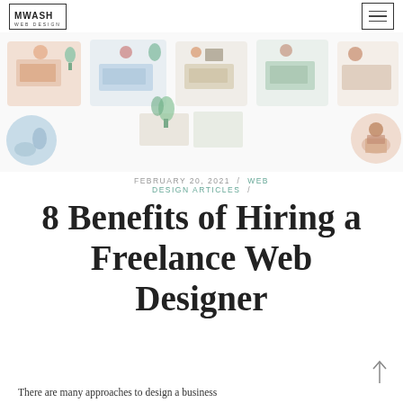MWASH WEB DESIGN — navigation header with logo and hamburger menu
[Figure (illustration): Decorative hero image strip showing multiple illustrated vignettes of people working at desks, freelance/remote work scenes with plants and home office setups]
FEBRUARY 20, 2021 / WEB DESIGN ARTICLES /
8 Benefits of Hiring a Freelance Web Designer
There are many approaches to design a business